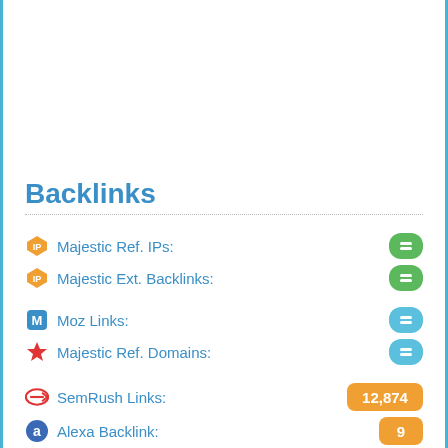Backlinks
Majestic Ref. IPs: -
Majestic Ext. Backlinks: -
Moz Links: -
Majestic Ref. Domains: -
SemRush Links: 12,874
Alexa Backlink: 9